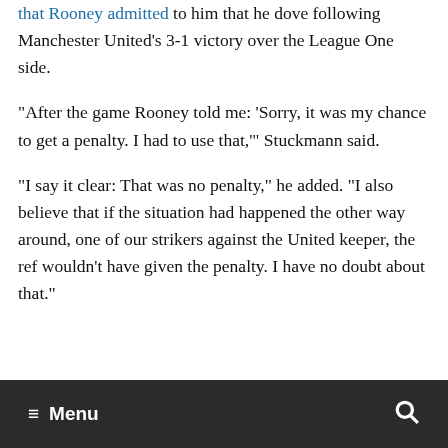that Rooney admitted to him that he dove following Manchester United's 3-1 victory over the League One side.
"After the game Rooney told me: 'Sorry, it was my chance to get a penalty. I had to use that,'" Stuckmann said.
"I say it clear: That was no penalty," he added. "I also believe that if the situation had happened the other way around, one of our strikers against the United keeper, the ref wouldn't have given the penalty. I have no doubt about that."
≡ Menu  🔍